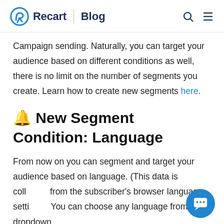Recart | Blog
Campaign sending. Naturally, you can target your audience based on different conditions as well, there is no limit on the number of segments you create. Learn how to create new segments here.
🔔 New Segment Condition: Language
From now on you can segment and target your audience based on language. (This data is collected from the subscriber's browser language settings.) You can choose any language from the dropdown